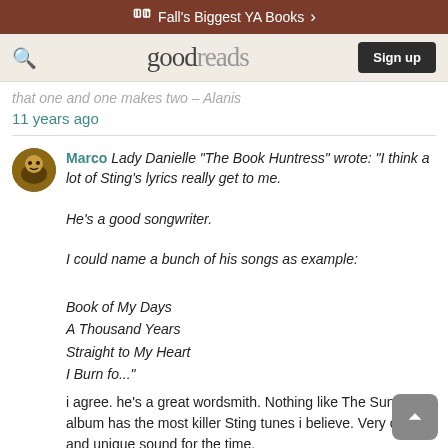Fall's Biggest YA Books
goodreads | Sign up
that one and one makes two - Alanis
11 years ago
Marco Lady Danielle "The Book Huntress" wrote: "I think a lot of Sting's lyrics really get to me.

He's a good songwriter.

I could name a bunch of his songs as example:

Book of My Days
A Thousand Years
Straight to My Heart
I Burn fo..."

i agree. he's a great wordsmith. Nothing like The Sun album has the most killer Sting tunes i believe. Very original and unique sound for the time.